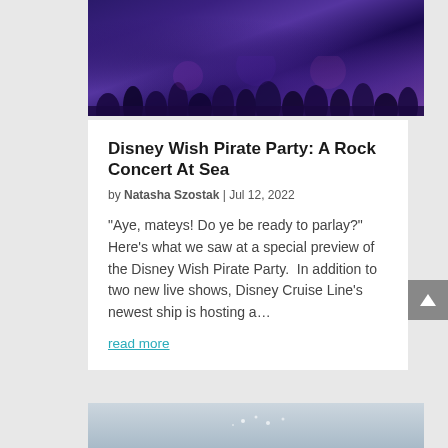[Figure (photo): Crowd of people at a Disney Wish Pirate Party event, lit with purple and blue stage lighting]
Disney Wish Pirate Party: A Rock Concert At Sea
by Natasha Szostak | Jul 12, 2022
“Aye, mateys! Do ye be ready to parlay?” Here’s what we saw at a special preview of the Disney Wish Pirate Party.  In addition to two new live shows, Disney Cruise Line’s newest ship is hosting a…
read more
[Figure (photo): Bottom portion of a second article image, appears to show a light/misty scene]